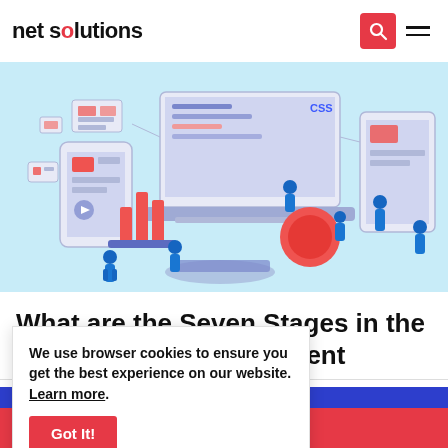net solutions
[Figure (illustration): Isometric illustration of developers and digital interface elements including laptops, screens, charts, and UI components on a light blue background]
What are the Seven Stages in the New Product Development
We use browser cookies to ensure you get the best experience on our website. Learn more.
Got It!
Contact Us